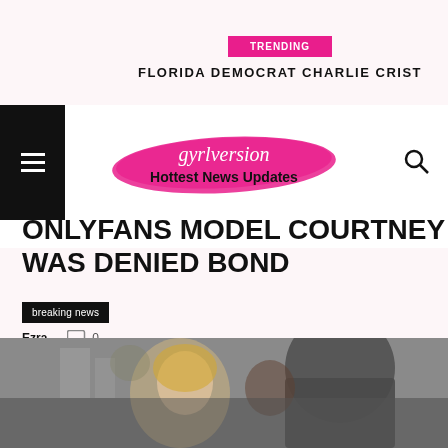TRENDING
FLORIDA DEMOCRAT CHARLIE CRIST
[Figure (logo): Gyrlversion Hottest News Updates logo with pink brush stroke background and script+bold text]
ONLYFANS MODEL COURTNEY WAS DENIED BOND
breaking news
Ezra - 0
[Figure (photo): Photo of a couple, woman with blonde hair and man, outdoors]